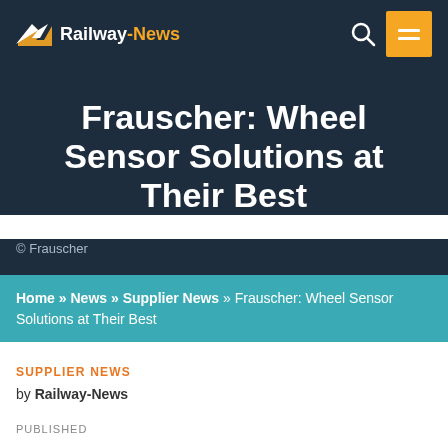Railway-News
Frauscher: Wheel Sensor Solutions at Their Best
© Frauscher
Home » News » Supplier News » Frauscher: Wheel Sensor Solutions at Their Best
SUPPLIER NEWS
by Railway-News
PUBLISHED